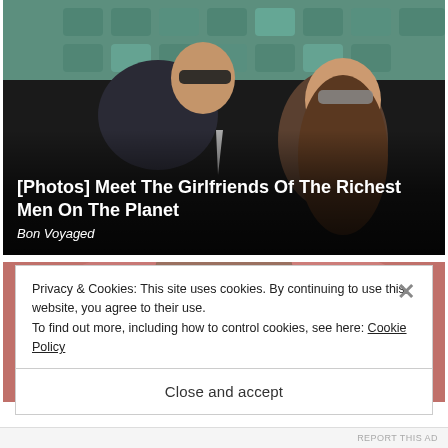[Figure (photo): A man in a dark suit with sunglasses and a woman with long brown hair and sunglasses seated in stadium stands]
[Photos] Meet The Girlfriends Of The Richest Men On The Planet
Bon Voyaged
[Figure (photo): Close-up of a bald man's head with a blurred red background]
Privacy & Cookies: This site uses cookies. By continuing to use this website, you agree to their use.
To find out more, including how to control cookies, see here: Cookie Policy
Close and accept